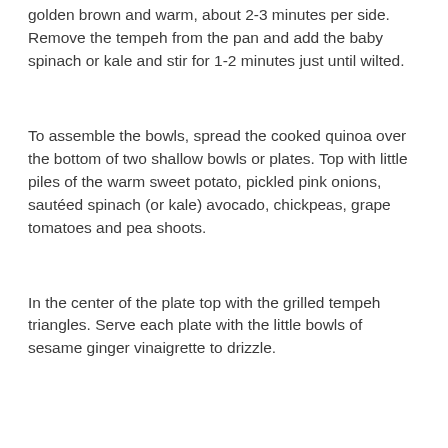golden brown and warm, about 2-3 minutes per side. Remove the tempeh from the pan and add the baby spinach or kale and stir for 1-2 minutes just until wilted.
To assemble the bowls, spread the cooked quinoa over the bottom of two shallow bowls or plates. Top with little piles of the warm sweet potato, pickled pink onions, sautéed spinach (or kale) avocado, chickpeas, grape tomatoes and pea shoots.
In the center of the plate top with the grilled tempeh triangles. Serve each plate with the little bowls of sesame ginger vinaigrette to drizzle.